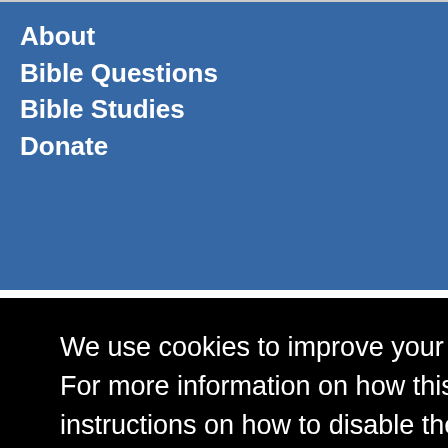About
Bible Questions
Bible Studies
Donate
We use cookies to improve your experience of our website. For more information on how this website uses cookies and instructions on how to disable them, please click here to view our Cookie Policy . By continuing to use this website, you are consenting to the website's use of cookies.
Got It!
Google Sermons Podcast